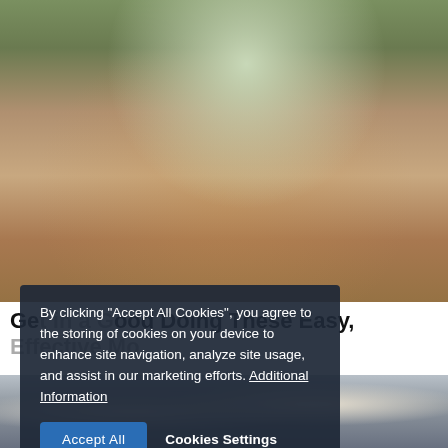[Figure (photo): Woman in yellow shorts and black sports top posing in an industrial/warehouse setting, viewed from behind in a squatting pose]
Get in a Good Mood Doing These Easy, Effective Mo...
[Figure (photo): Couple kissing near a car, woman with long blonde hair wearing black outfit and black cap]
By clicking "Accept All Cookies", you agree to the storing of cookies on your device to enhance site navigation, analyze site usage, and assist in our marketing efforts. Additional Information
Accept All
Cookies Settings